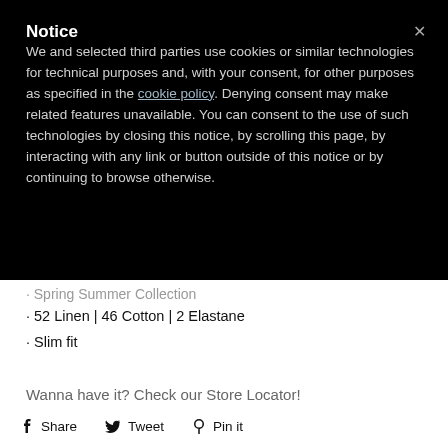Notice
We and selected third parties use cookies or similar technologies for technical purposes and, with your consent, for other purposes as specified in the cookie policy. Denying consent may make related features unavailable. You can consent to the use of such technologies by closing this notice, by scrolling this page, by interacting with any link or button outside of this notice or by continuing to browse otherwise.
· Spring Summer Collection
· 52 Linen | 46 Cotton | 2 Elastane
· Slim fit
Wanna have it? Check our Store Locator!
Share   Tweet   Pin it